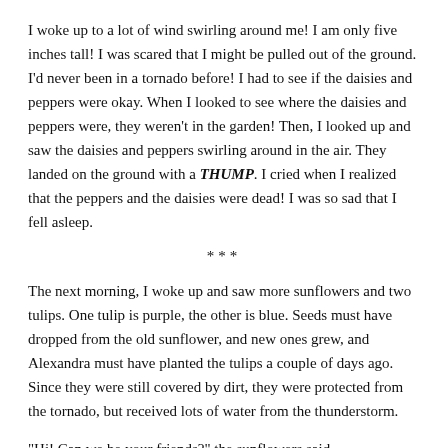I woke up to a lot of wind swirling around me! I am only five inches tall! I was scared that I might be pulled out of the ground. I'd never been in a tornado before! I had to see if the daisies and peppers were okay. When I looked to see where the daisies and peppers were, they weren't in the garden! Then, I looked up and saw the daisies and peppers swirling around in the air. They landed on the ground with a THUMP. I cried when I realized that the peppers and the daisies were dead! I was so sad that I fell asleep.
***
The next morning, I woke up and saw more sunflowers and two tulips. One tulip is purple, the other is blue. Seeds must have dropped from the old sunflower, and new ones grew, and Alexandra must have planted the tulips a couple of days ago. Since they were still covered by dirt, they were protected from the tornado, but received lots of water from the thunderstorm.
"Hi! Can we be your friends?" the sunflowers said.